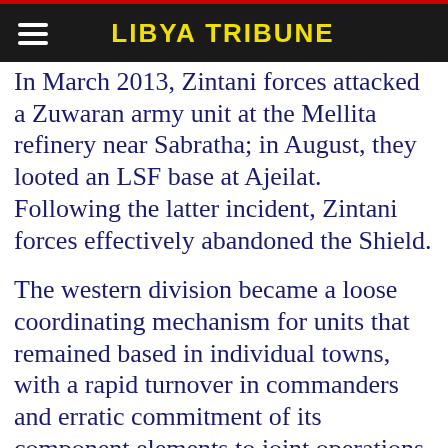LIBYA TRIBUNE
In March 2013, Zintani forces attacked a Zuwaran army unit at the Mellita refinery near Sabratha; in August, they looted an LSF base at Ajeilat. Following the latter incident, Zintani forces effectively abandoned the Shield.
The western division became a loose coordinating mechanism for units that remained based in individual towns, with a rapid turnover in commanders and erratic commitment of its component elements to joint operations.
An alternative to the Shield emerged in the